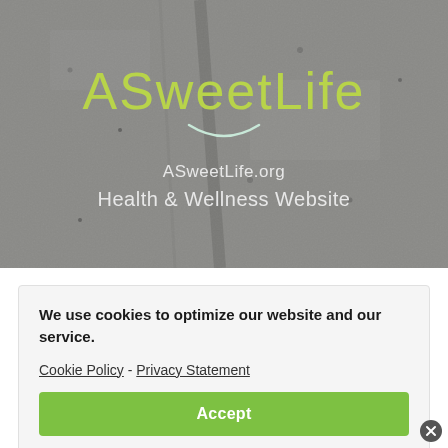[Figure (screenshot): ASweetLife website hero banner with gray textured concrete background, green 'ASweetLife' logo text at top, a white smile arc underneath, and white text reading 'ASweetLife.org Health & Wellness Website']
We use cookies to optimize our website and our service.
Cookie Policy - Privacy Statement
Accept